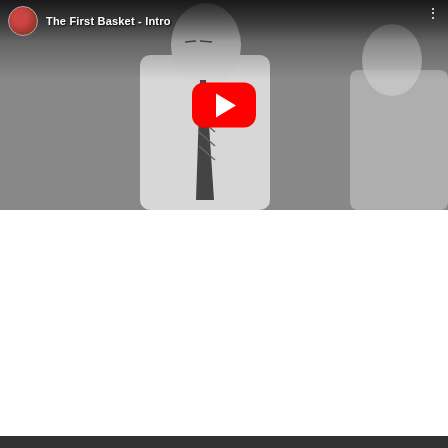[Figure (screenshot): YouTube video thumbnail for 'The First Basket - Intro' showing a black and white image of a man in a white shirt and striped tie, with a YouTube play button overlay and a channel icon in the top-left corner. Three dots menu icon in top-right.]
[Figure (screenshot): YouTube video unavailable panel with dark gray background. Shows a circle-exclamation icon on the left, 'Video unavailable' in bold white text, and below it: 'This video contains content from [Merlin] Redeye Distribution, who has blocked it in your country on copyright grounds'.]